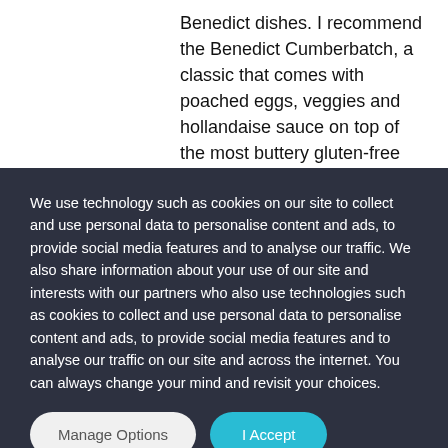Benedict dishes. I recommend the Benedict Cumberbatch, a classic that comes with poached eggs, veggies and hollandaise sauce on top of the most buttery gluten-free biscuit I've ever had. If you're looking for something that really packs a punch, I recommend the Johnny Rooster, which features gluten-free
We use technology such as cookies on our site to collect and use personal data to personalise content and ads, to provide social media features and to analyse our traffic. We also share information about your use of our site and interests with our partners who also use technologies such as cookies to collect and use personal data to personalise content and ads, to provide social media features and to analyse our traffic on our site and across the internet. You can always change your mind and revisit your choices.